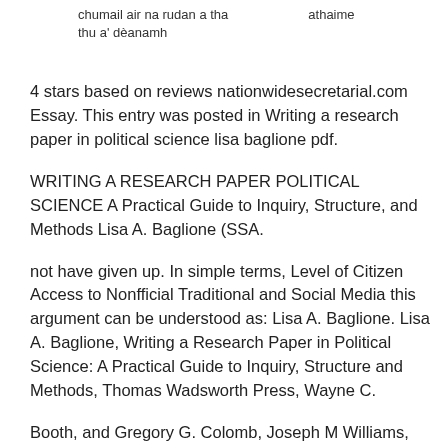chumail air na rudan a tha thu a' dèanamh		athaime
4 stars based on reviews nationwidesecretarial.com Essay. This entry was posted in Writing a research paper in political science lisa baglione pdf.
WRITING A RESEARCH PAPER POLITICAL SCIENCE A Practical Guide to Inquiry, Structure, and Methods Lisa A. Baglione (SSA.
not have given up. In simple terms, Level of Citizen Access to Nonfficial Traditional and Social Media this argument can be understood as: Lisa A. Baglione. Lisa A. Baglione, Writing a Research Paper in Political Science: A Practical Guide to Inquiry, Structure and Methods, Thomas Wadsworth Press, Wayne C.
Booth, and Gregory G. Colomb, Joseph M Williams, The